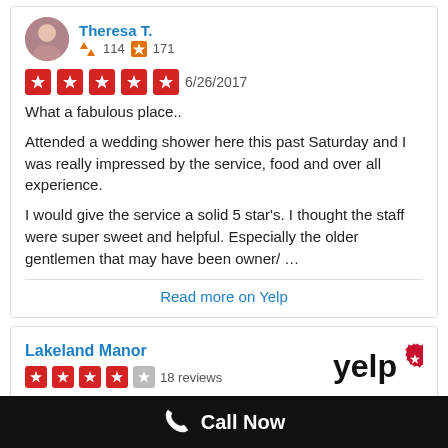Theresa T.
114  171
6/26/2017
What a fabulous place..
Attended a wedding shower here this past Saturday and I was really impressed by the service, food and over all experience.
I would give the service a solid 5 star's. I thought the staff were super sweet and helpful. Especially the older gentlemen that may have been owner/ …
Read more on Yelp
Lakeland Manor
18 reviews
Call Now